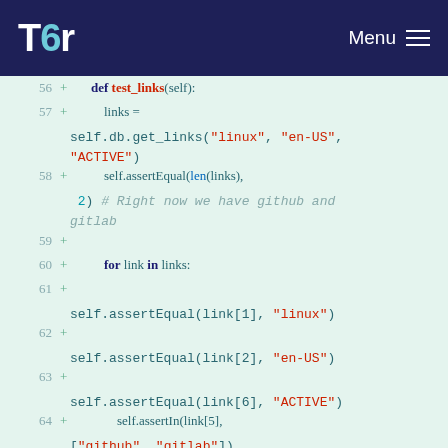Tor Menu
[Figure (screenshot): Code diff view showing Python test code lines 56-67 with line numbers and + markers on a light green background]
56 +     def test_links(self):
57 +         links = self.db.get_links("linux", "en-US", "ACTIVE")
58 +         self.assertEqual(len(links), 2) # Right now we have github and gitlab
59 +
60 +         for link in links:
61 +
            self.assertEqual(link[1], "linux")
62 +
            self.assertEqual(link[2], "en-US")
63 +
            self.assertEqual(link[6], "ACTIVE")
64 +             self.assertIn(link[5], ["github", "gitlab"])
65 +
66 + if __name__ == "__main__":
67 +     unittest.main()